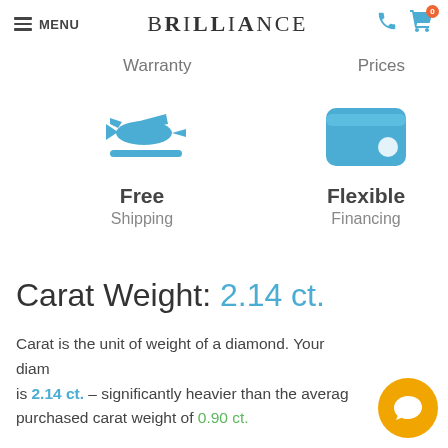MENU | BRILLIANCE | phone icon | cart icon (0)
Warranty	Prices
[Figure (illustration): Blue airplane takeoff icon above a blue horizontal line, representing Free Shipping]
Free
Shipping
[Figure (illustration): Blue wallet icon representing Flexible Financing]
Flexible
Financing
Carat Weight: 2.14 ct.
Carat is the unit of weight of a diamond. Your diamond is 2.14 ct. – significantly heavier than the average purchased carat weight of 0.90 ct.